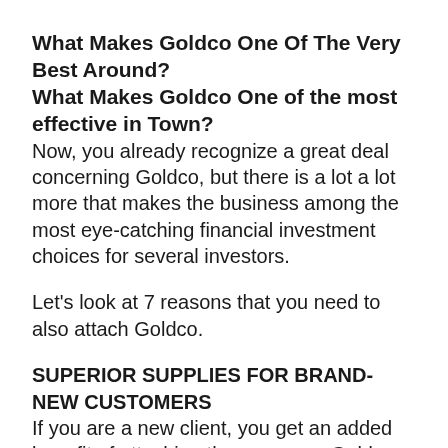What Makes Goldco One Of The Very Best Around?
What Makes Goldco One of the most effective in Town?
Now, you already recognize a great deal concerning Goldco, but there is a lot a lot more that makes the business among the most eye-catching financial investment choices for several investors.
Let’s look at 7 reasons that you need to also attach Goldco.
SUPERIOR SUPPLIES FOR BRAND-NEW CUSTOMERS
If you are a new client, you get an added benefit of attaching the company, Goldco